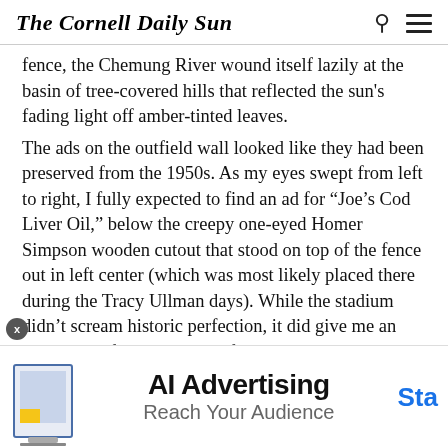The Cornell Daily Sun
fence, the Chemung River wound itself lazily at the basin of tree-covered hills that reflected the sun's fading light off amber-tinted leaves.
The ads on the outfield wall looked like they had been preserved from the 1950s. As my eyes swept from left to right, I fully expected to find an ad for “Joe’s Cod Liver Oil,” below the creepy one-eyed Homer Simpson wooden cutout that stood on top of the fence out in left center (which was most likely placed there during the Tracy Ullman days). While the stadium didn’t scream historic perfection, it did give me an indication of how this team fit into Elmira’s culture.
he small decorations around the park were testaments
[Figure (infographic): AI Advertising banner ad with text 'AI Advertising / Reach Your Audience' and a 'Sta' call-to-action button, with a small laptop/monitor illustration on the left.]